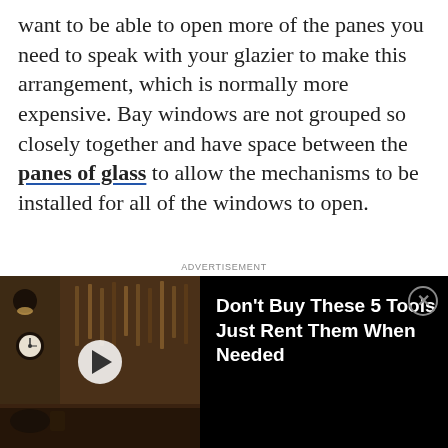want to be able to open more of the panes you need to speak with your glazier to make this arrangement, which is normally more expensive. Bay windows are not grouped so closely together and have space between the panes of glass to allow the mechanisms to be installed for all of the windows to open.
ADVERTISEMENT
[Figure (other): Advertisement banner showing a workshop/garage scene with tools on pegboard wall on the left side (video thumbnail with play button), and text on black background on the right: 'Don't Buy These 5 Tools Just Rent Them When Needed' with a close (X) button.]